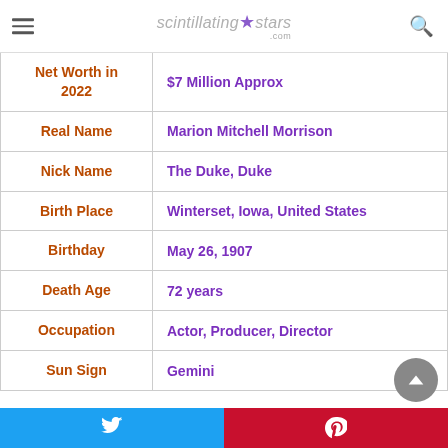scintillating★stars.com
| Field | Value |
| --- | --- |
| Net Worth in 2022 | $7 Million Approx |
| Real Name | Marion Mitchell Morrison |
| Nick Name | The Duke, Duke |
| Birth Place | Winterset, Iowa, United States |
| Birthday | May 26, 1907 |
| Death Age | 72 years |
| Occupation | Actor, Producer, Director |
| Sun Sign | Gemini |
Twitter | Pinterest